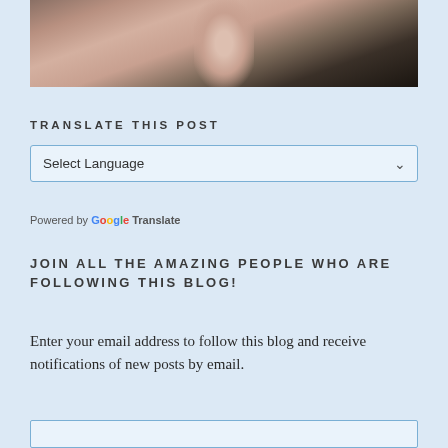[Figure (photo): Partial photograph of a person in light-colored clothing against a dark background]
TRANSLATE THIS POST
Select Language (dropdown with Google Translate)
Powered by Google Translate
JOIN ALL THE AMAZING PEOPLE WHO ARE FOLLOWING THIS BLOG!
Enter your email address to follow this blog and receive notifications of new posts by email.